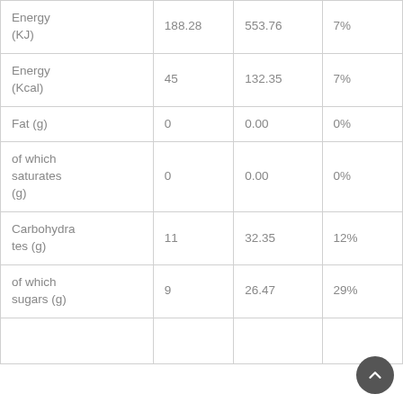| Energy (KJ) | 188.28 | 553.76 | 7% |
| Energy (Kcal) | 45 | 132.35 | 7% |
| Fat (g) | 0 | 0.00 | 0% |
| of which saturates (g) | 0 | 0.00 | 0% |
| Carbohydrates (g) | 11 | 32.35 | 12% |
| of which sugars (g) | 9 | 26.47 | 29% |
|  |  |  |  |